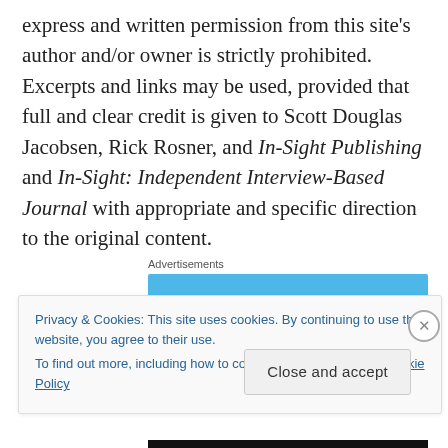express and written permission from this site's author and/or owner is strictly prohibited. Excerpts and links may be used, provided that full and clear credit is given to Scott Douglas Jacobsen, Rick Rosner, and In-Sight Publishing and In-Sight: Independent Interview-Based Journal with appropriate and specific direction to the original content.
Advertisements
Privacy & Cookies: This site uses cookies. By continuing to use this website, you agree to their use.
To find out more, including how to control cookies, see here: Cookie Policy
Close and accept